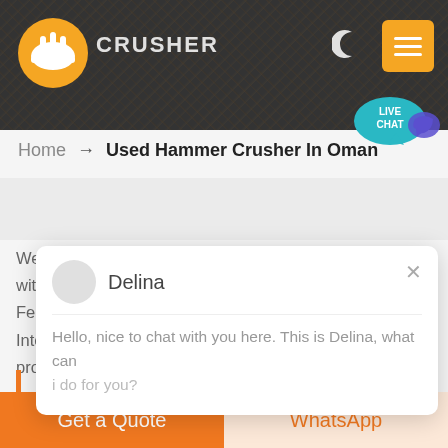[Figure (screenshot): Website header banner with dark rocky background, orange logo (mining helmet icon), CRUSHER text, moon icon, and orange menu button]
Home → Used Hammer Crusher In Oman
We have successively launched vertical mill products with independent intellectual property rights. Product Features: Integration of multiple functions, more stable and reliable production and more excellent capacity
[Figure (screenshot): Live chat popup with avatar, agent name Delina, greeting message: Hello, nice to chat with you here. This is Delina, what can I do for you?]
Get a Quote
WhatsApp